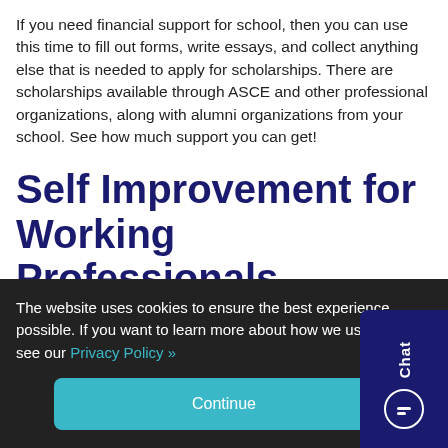If you need financial support for school, then you can use this time to fill out forms, write essays, and collect anything else that is needed to apply for scholarships. There are scholarships available through ASCE and other professional organizations, along with alumni organizations from your school. See how much support you can get!
Self Improvement for Working Professionals
Sharpen your axe with items 1, 2, and 3 in the “student” se…
The website uses cookies to ensure the best experience possible. If you want to learn more about how we use cookies, see our Privacy Policy »
Continue